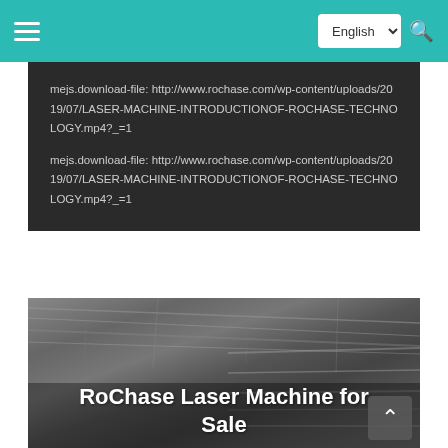English (language selector) | Navigation menu | Search
mejs.download-file: http://www.rochase.com/wp-content/uploads/2019/07/LASER-MACHINE-INTRODUCTIONOF-ROCHASE-TECHNOLOGY.mp4?_=1
mejs.download-file: http://www.rochase.com/wp-content/uploads/2019/07/LASER-MACHINE-INTRODUCTIONOF-ROCHASE-TECHNOLOGY.mp4?_=1
[Figure (photo): Industrial facility interior showing ceiling and shelving structures, with overlaid text 'RoChase Laser Machine for Sale']
RoChase Laser Machine for Sale